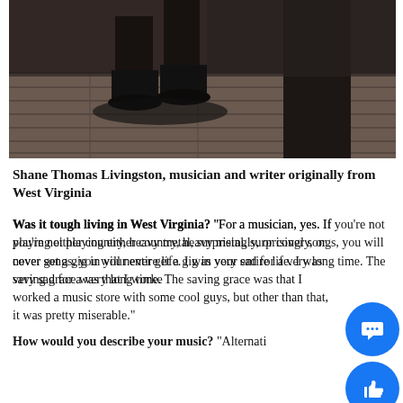[Figure (photo): Dark photograph showing a person's lower legs and boots on a wooden floor or stage, with a dark draped fabric or curtain in the background.]
Shane Thomas Livingston, musician and writer originally from West Virginia
Was it tough living in West Virginia? “For a musician, yes. If you’re not playing either country, heavy metal, surprisingly, or cover songs, you will never get a gig in your entire life. I was very sad for a very long time. The saving grace was that I worked at a music store with some cool guys, but other than that, it was pretty miserable.”
How would you describe your music? “Alternative